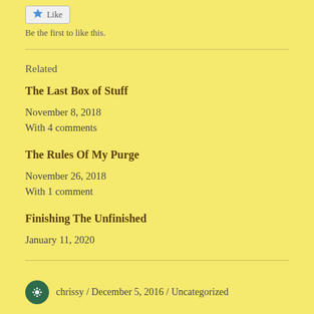[Figure (other): Like button with star icon]
Be the first to like this.
Related
The Last Box of Stuff
November 8, 2018
With 4 comments
The Rules Of My Purge
November 26, 2018
With 1 comment
Finishing The Unfinished
January 11, 2020
chrissy / December 5, 2016 / Uncategorized